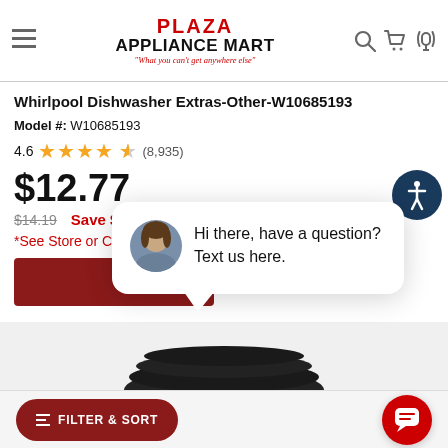PLAZA APPLIANCE MART "What you can't get anywhere else"
Whirlpool Dishwasher Extras-Other-W10685193
Model #: W10685193
4.6 ★★★★★ (8,935)
$12.77
$14.19  Save $1.42
*See Store or Chat for Details
[Figure (screenshot): Chat popup with avatar of woman: Hi there, have a question? Text us here.]
FILTER & SORT
[Figure (photo): Black rubber hose/cord product image at bottom of page]